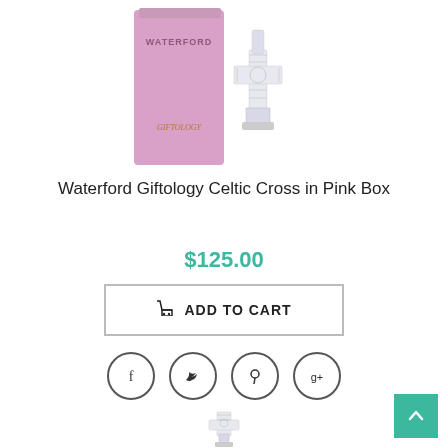[Figure (photo): Product photo showing a pink box with Waterford branding and a crystal Celtic cross figurine beside it, on white background]
Waterford Giftology Celtic Cross in Pink Box
$125.00
ADD TO CART
[Figure (infographic): Social sharing icons: Facebook, Twitter, Pinterest, Google+]
[Figure (photo): Thumbnail image of a crystal Celtic cross figurine]